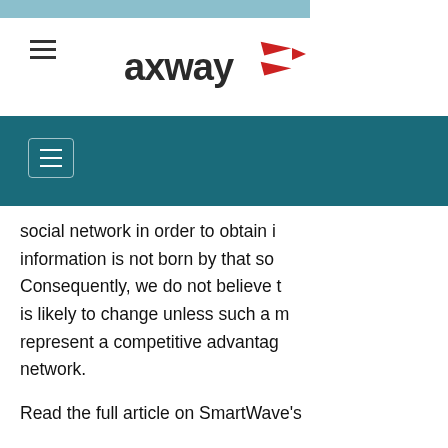[Figure (logo): Axway logo with red arrow mark and bold 'axway' text]
social network in order to obtain i... information is not born by that so... Consequently, we do not believe t... is likely to change unless such a m... represent a competitive advantag... network.
Read the full article on SmartWave's